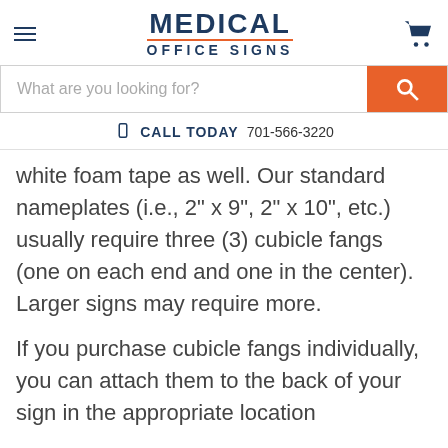MEDICAL OFFICE SIGNS
What are you looking for?
CALL TODAY 701-566-3220
white foam tape as well. Our standard nameplates (i.e., 2" x 9", 2" x 10", etc.) usually require three (3) cubicle fangs (one on each end and one in the center). Larger signs may require more.
If you purchase cubicle fangs individually, you can attach them to the back of your sign in the appropriate location